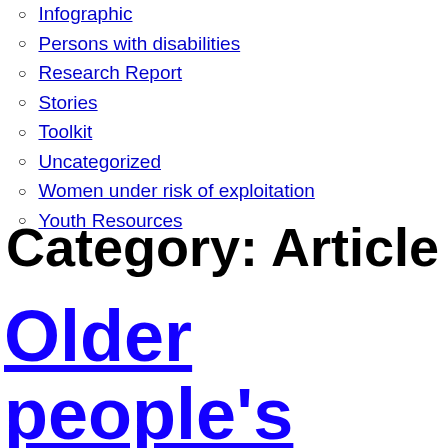Infographic
Persons with disabilities
Research Report
Stories
Toolkit
Uncategorized
Women under risk of exploitation
Youth Resources
Category: Article
Older people's inclusion in the SDGs is essenti…